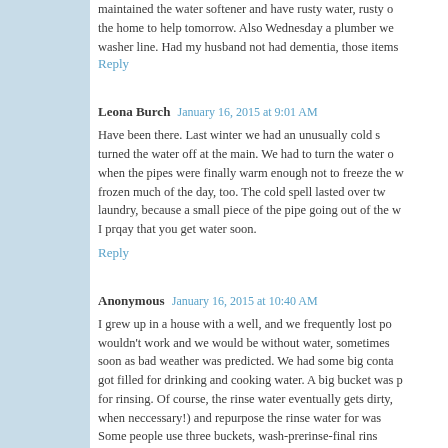maintained the water softener and have rusty water, rusty o the home to help tomorrow. Also Wednesday a plumber we washer line. Had my husband not had dementia, those items
Reply
Leona Burch  January 16, 2015 at 9:01 AM
Have been there. Last winter we had an unusually cold s turned the water off at the main. We had to turn the water o when the pipes were finally warm enough not to freeze the w frozen much of the day, too. The cold spell lasted over tw laundry, because a small piece of the pipe going out of the w I prqay that you get water soon.
Reply
Anonymous  January 16, 2015 at 10:40 AM
I grew up in a house with a well, and we frequently lost pow wouldn't work and we would be without water, sometimes soon as bad weather was predicted. We had some big conta got filled for drinking and cooking water. A big bucket was p for rinsing. Of course, the rinse water eventually gets dirty, when neccessary!) and repurpose the rinse water for was Some people use three buckets, wash-prerinse-final rins